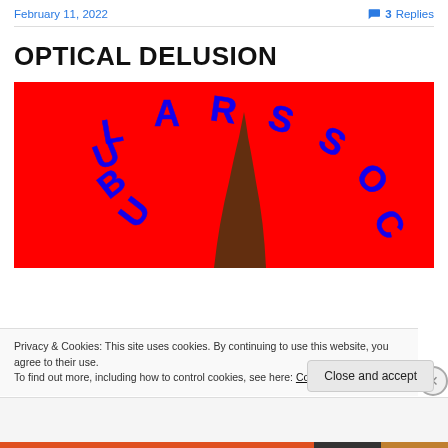February 11, 2022   💬 3 Replies
OPTICAL DELUSION
[Figure (illustration): Red background image with blue outlined text arranged in an arc reading 'TUBULAR SOC...' with a dark pointed shape (possibly a hat or hair) in the center foreground.]
Privacy & Cookies: This site uses cookies. By continuing to use this website, you agree to their use.
To find out more, including how to control cookies, see here: Cookie Policy
Close and accept